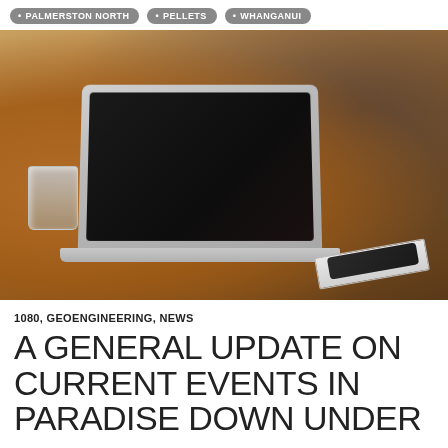• PALMERSTON NORTH  • PELLETS  • WHANGANUI
[Figure (photo): A MacBook Air laptop open on a wooden table with a glass of water and a notebook with a pen beside it, blurred background]
1080, GEOENGINEERING, NEWS
A GENERAL UPDATE ON CURRENT EVENTS IN PARADISE DOWN UNDER